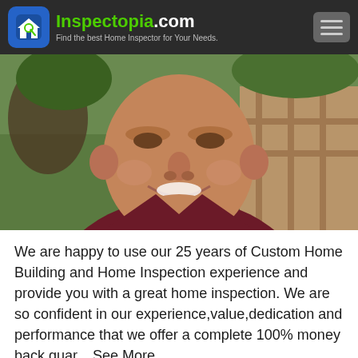Inspectopia.com — Find the best Home Inspector for Your Needs.
[Figure (photo): Close-up photo of a smiling middle-aged man wearing a dark maroon/burgundy polo shirt, outdoors with a wooden fence in background]
We are happy to use our 25 years of Custom Home Building and Home Inspection experience and provide you with a great home inspection. We are so confident in our experience,value,dedication and performance that we offer a complete 100% money back guar... See More
Highlights: Residential Home Inspections,